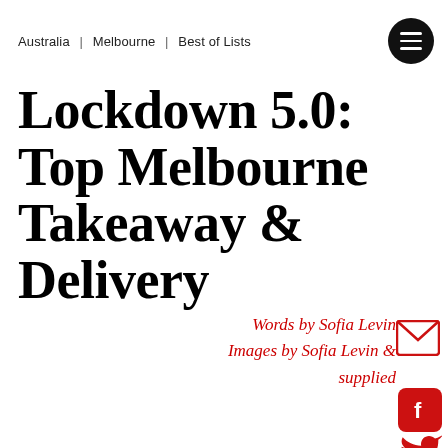Australia | Melbourne | Best of Lists
Lockdown 5.0: Top Melbourne Takeaway & Delivery
Words by Sofia Levin
Images by Sofia Levin & supplied